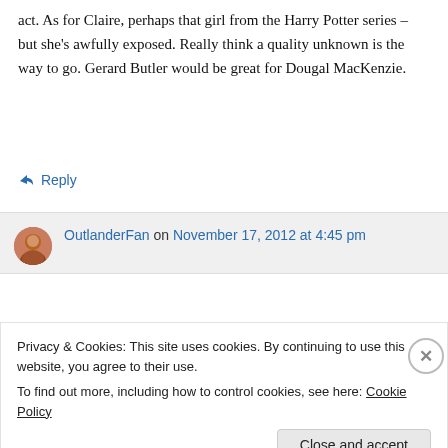act. As for Claire, perhaps that girl from the Harry Potter series – but she's awfully exposed. Really think a quality unknown is the way to go. Gerard Butler would be great for Dougal MacKenzie.
↳ Reply
OutlanderFan on November 17, 2012 at 4:45 pm
Privacy & Cookies: This site uses cookies. By continuing to use this website, you agree to their use.
To find out more, including how to control cookies, see here: Cookie Policy
Close and accept